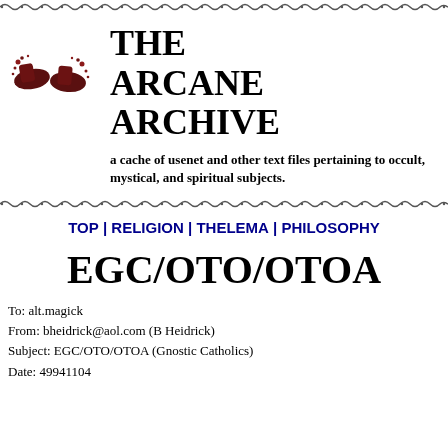[Figure (illustration): Decorative wavy/dotted border line at top of page]
[Figure (illustration): Small decorative illustration of two dark boot/shoe shapes with splatter, positioned to the left of the title]
THE ARCANE ARCHIVE
a cache of usenet and other text files pertaining to occult, mystical, and spiritual subjects.
[Figure (illustration): Decorative wavy/dotted border line dividing sections]
TOP | RELIGION | THELEMA | PHILOSOPHY
EGC/OTO/OTOA
To: alt.magick
From: bheidrick@aol.com (B Heidrick)
Subject: EGC/OTO/OTOA (Gnostic Catholics)
Date: 49941104